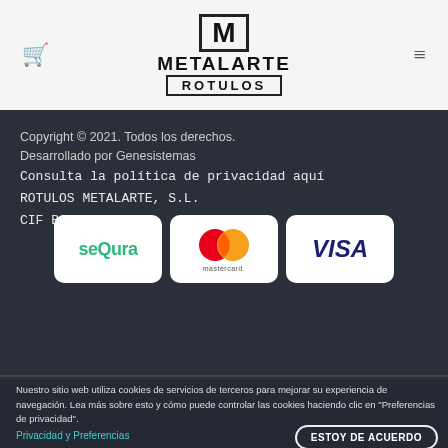[Figure (logo): Metalarte Rotulos logo with M in box and ROTULOS text badge]
Copyright © 2021. Todos los derechos.
Desarrollado por Genesistemas
Consulta la política de privacidad aquí
ROTULOS METALARTE, S.L.
CIF B67643833
[Figure (infographic): Payment method badges: sequra, mastercard, VISA]
Nuestro sitio web utiliza cookies de servicios de terceros para mejorar su experiencia de navegación. Lea más sobre esto y cómo puede controlar las cookies haciendo clic en "Preferencias de privacidad".
Privacidad y Preferencias
ESTOY DE ACUERDO